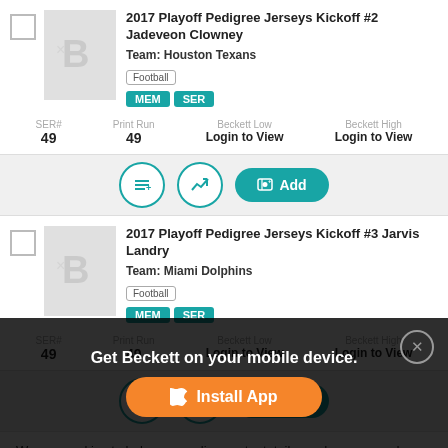2017 Playoff Pedigree Jerseys Kickoff #2 Jadeveon Clowney
Team: Houston Texans
Football
MEM SER
SER# 49  Print Run 49  Beckett Low Login to View  Beckett High Login to View
2017 Playoff Pedigree Jerseys Kickoff #3 Jarvis Landry
Team: Miami Dolphins
Football
MEM SER
SER# 49  Print Run 49  Beckett Low Login to View  Beckett High Login to View
We use cookies to help personalize content, tailor and measure ads, and provide a safer experience. By navigating the site, you agree to the use of cookies to collect information. Get Beckett on your mobile device.
Get Beckett on your mobile device.
Install App